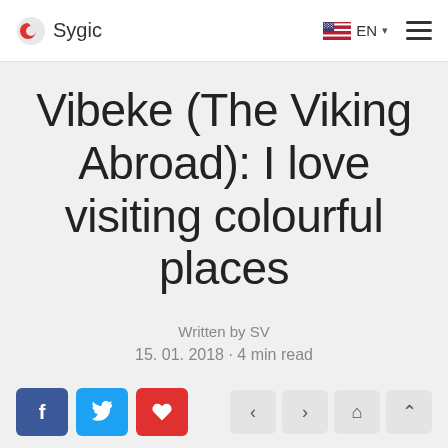Sygic
Vibeke (The Viking Abroad): I love visiting colourful places
Written by SV
15. 01. 2018 · 4 min read